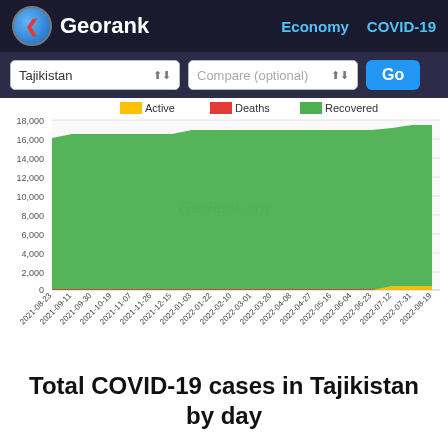Georank | Economy | COVID-19
[Figure (area-chart): Total COVID-19 cases in Tajikistan by day]
Total COVID-19 cases in Tajikistan by day